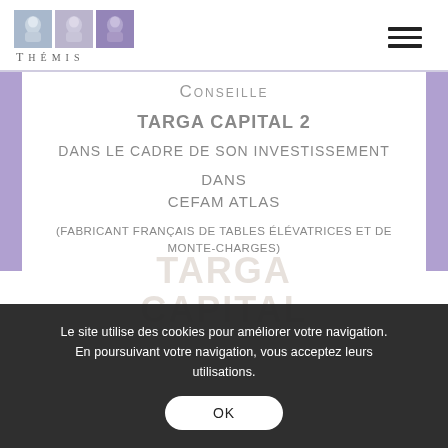Thémis (logo and navigation)
CONSEILLE
TARGA CAPITAL 2
DANS LE CADRE DE SON INVESTISSEMENT
DANS
CEFAM ATLAS
(FABRICANT FRANÇAIS DE TABLES ÉLÉVATRICES ET DE MONTE-CHARGES)
Le site utilise des cookies pour améliorer votre navigation. En poursuivant votre navigation, vous acceptez leurs utilisations.